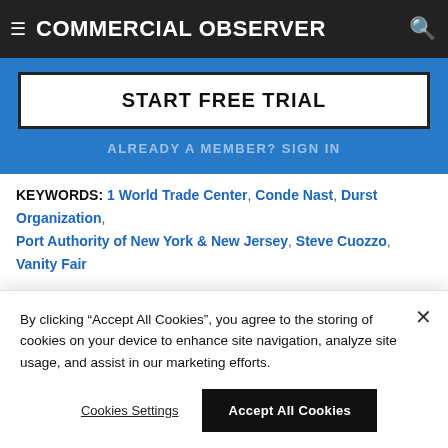COMMERCIAL OBSERVER
[Figure (screenshot): Blue promotional area with START FREE TRIAL button and ALREADY A MEMBER? SIGN IN link]
KEYWORDS: 1 World Trade Center, Conde Nast, Durst Organization, Port Authority of New York & New Jersey, Steve Cuozzo, Vanity Fair
Organizations in this story
By clicking "Accept All Cookies", you agree to the storing of cookies on your device to enhance site navigation, analyze site usage, and assist in our marketing efforts.
Cookies Settings | Accept All Cookies